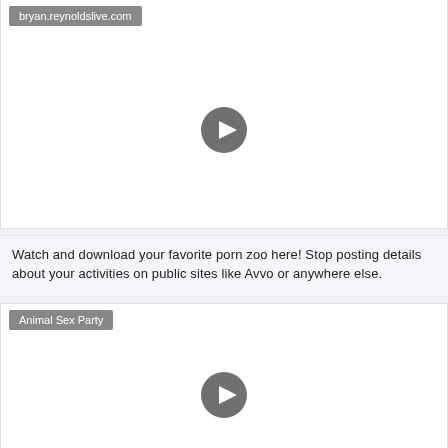bryan.reynoldslive.com
[Figure (screenshot): Video player thumbnail with grey play button in center, white background]
Watch and download your favorite porn zoo here! Stop posting details about your activities on public sites like Avvo or anywhere else.
Animal Sex Party
[Figure (screenshot): Video player thumbnail with grey play button in center, white background]